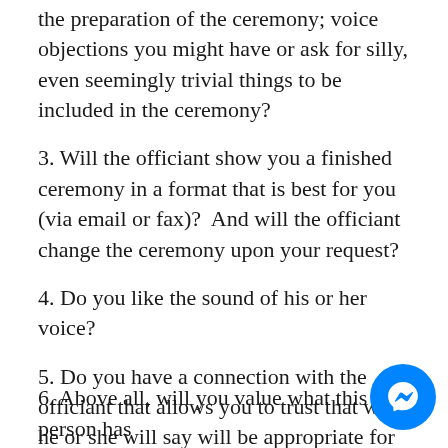the preparation of the ceremony; voice objections you might have or ask for silly, even seemingly trivial things to be included in the ceremony?
3. Will the officiant show you a finished ceremony in a format that is best for you (via email or fax)?  And will the officiant change the ceremony upon your request?
4. Do you like the sound of his or her voice?
5. Do you have a connection with the officiant that allows you to trust that what he or she will say will be appropriate for the two of you? A person that has a sense of you and underst the uniqueness of your relationship?
6. Above all, will you value what this person has